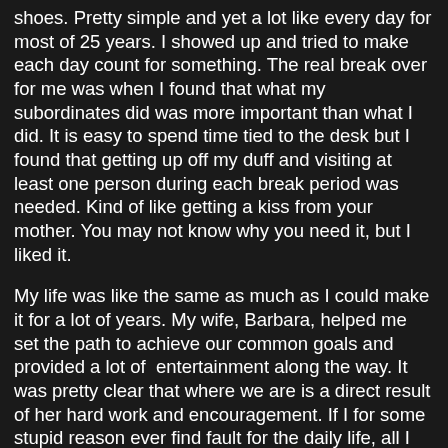shoes.  Pretty simple and yet a lot like every day for most of 25 years.  I showed up and tried to make each day count for something.  The real break over for me was when I found that what my subordinates did was more important than what I did.  It is easy to spend time tied to the desk but I found that getting up off my duff and visiting at least one person during each break period was needed.  Kind of like getting a kiss from your mother.  You may not know why you need it, but I liked it.
My life was like the same as much as I could make it for a lot of years.  My wife, Barbara, helped me set the path to achieve our common goals and provided a lot of  entertainment along the way.  It was pretty clear that where we are is a direct result of her hard work and encouragement.  If I for some stupid reason ever find fault for the daily life, all I need to do is remember that I worked darned hard to get here so I should just sit back and enjoy.